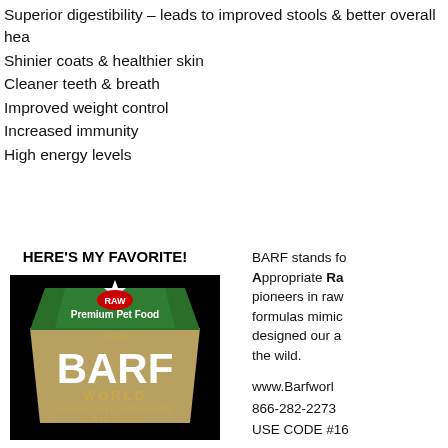Superior digestibility – leads to improved stools & better overall health
Shinier coats & healthier skin
Cleaner teeth & breath
Improved weight control
Increased immunity
High energy levels
HERE'S MY FAVORITE!
[Figure (logo): BARF World RAW Premium Pet Food logo – green banner on gold trapezoid shape with text BIOLOGICALLY APPROPRIATE RAW FOOD]
BARF stands for Biologically Appropriate Raw food. pioneers in raw formulas mimic designed our all the wild.
www.Barfworld.com
866-282-2273
USE CODE #16